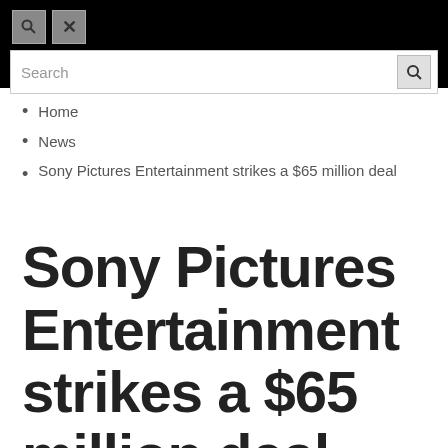[Figure (screenshot): Browser search bar UI with black background, two icon buttons (search and close), and a search input field with search button]
Home
News
Sony Pictures Entertainment strikes a $65 million deal
Sony Pictures Entertainment strikes a $65 million deal